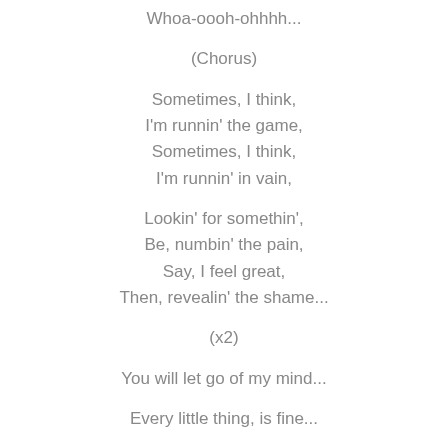Whoa-oooh-ohhhh...
(Chorus)
Sometimes, I think,
I'm runnin' the game,
Sometimes, I think,
I'm runnin' in vain,
Lookin' for somethin',
Be, numbin' the pain,
Say, I feel great,
Then, revealin' the shame...
(x2)
You will let go of my mind...
Every little thing, is fine...
(x2)